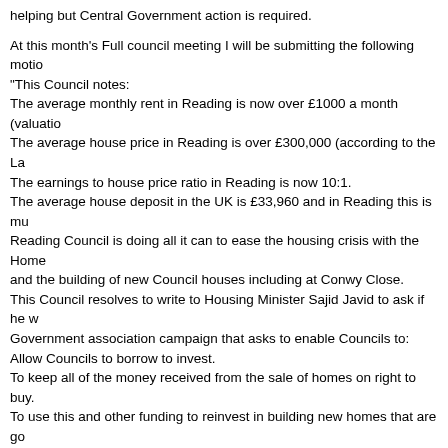helping but Central Government action is required.
At this month's Full council meeting I will be submitting the following motion:
"This Council notes:
The average monthly rent in Reading is now over £1000 a month (valuation...
The average house price in Reading is over £300,000 (according to the La...
The earnings to house price ratio in Reading is now 10:1.
The average house deposit in the UK is £33,960 and in Reading this is mu...
Reading Council is doing all it can to ease the housing crisis with the Home... and the building of new Council houses including at Conwy Close.
This Council resolves to write to Housing Minister Sajid Javid to ask if he w... Government association campaign that asks to enable Councils to:
Allow Councils to borrow to invest.
To keep all of the money received from the sale of homes on right to buy.
To use this and other funding to reinvest in building new homes that are go...
I hope that this is able to gain cross party support as it is an issue in Readi... action and spans party political lines. It supports a local Government camp... that calls for local Councils to be able to borrow to build and help us solve e... Teresa May visited a first time buyer in Wokingham earlier this month whic... Reading. Some of the kinder comments included: "How old is this first time... buyer from a wealthy family who chucked 50 grand at them" and "First time... exist?"